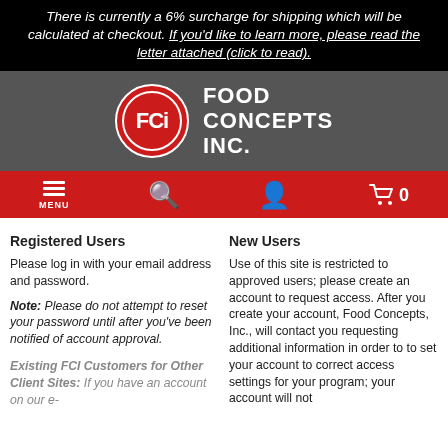There is currently a 6% surcharge for shipping which will be calculated at checkout. If you'd like to learn more, please read the letter attached (click to read).
[Figure (logo): Food Concepts Inc. logo — red circle with FCi text in white, beside bold white text reading FOOD CONCEPTS INC. on dark grey background]
[Figure (screenshot): Navigation bar with red background showing hamburger menu (MENU), search icon, user account icon, and shopping cart icon with 0]
Registered Users
Please log in with your email address and password.
Note: Please do not attempt to reset your password until after you've been notified of account approval.
Existing FCI Customers for Other Client Sites: If you have an account on our e-
New Users
Use of this site is restricted to approved users; please create an account to request access. After you create your account, Food Concepts, Inc., will contact you requesting additional information in order to to set your account to correct access settings for your program; your account will not